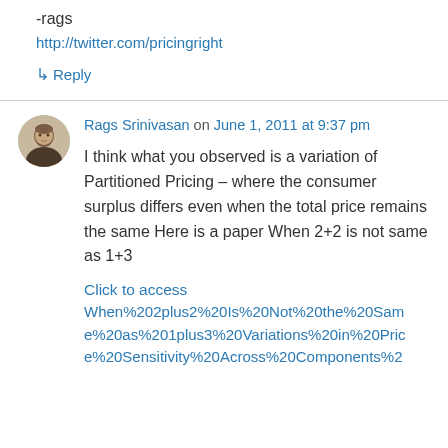-rags
http://twitter.com/pricingright
↳ Reply
Rags Srinivasan on June 1, 2011 at 9:37 pm
I think what you observed is a variation of Partitioned Pricing – where the consumer surplus differs even when the total price remains the same Here is a paper When 2+2 is not same as 1+3
Click to access When%202plus2%20Is%20Not%20the%20Same%20as%201plus3%20Variations%20in%20Price%20Sensitivity%20Across%20Components%2